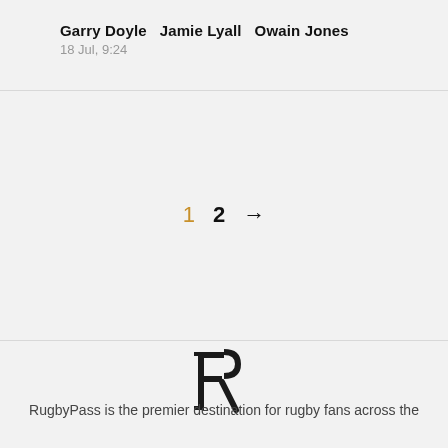Garry Doyle  Jamie Lyall  Owain Jones
18 Jul, 9:24
1  2  →
[Figure (logo): RugbyPass monogram logo — stylized interlocked PR letters]
RugbyPass is the premier destination for rugby fans across the